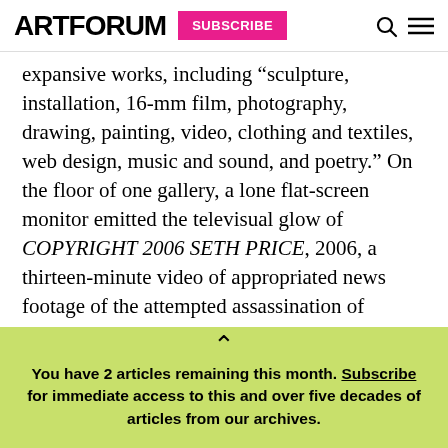ARTFORUM | SUBSCRIBE
expansive works, including “sculpture, installation, 16-mm film, photography, drawing, painting, video, clothing and textiles, web design, music and sound, and poetry.” On the floor of one gallery, a lone flat-screen monitor emitted the televisual glow of COPYRIGHT 2006 SETH PRICE, 2006, a thirteen-minute video of appropriated news footage of the attempted assassination of Ronald Reagan in 1981. A few rooms on, the same footage turned up again,
You have 2 articles remaining this month. Subscribe for immediate access to this and over five decades of articles from our archives.